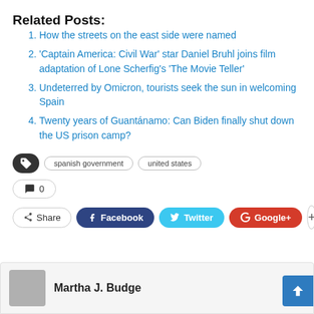Related Posts:
How the streets on the east side were named
'Captain America: Civil War' star Daniel Bruhl joins film adaptation of Lone Scherfig's 'The Movie Teller'
Undeterred by Omicron, tourists seek the sun in welcoming Spain
Twenty years of Guantánamo: Can Biden finally shut down the US prison camp?
Tags: spanish government, united states
Comments: 0
Share | Facebook | Twitter | Google+
Martha J. Budge